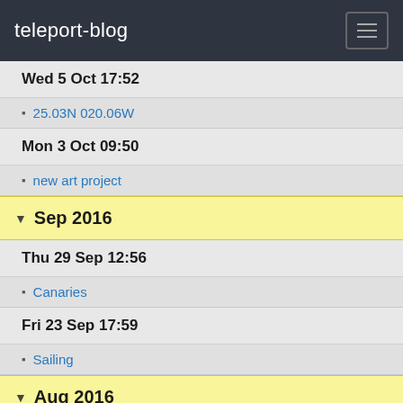teleport-blog
Wed 5 Oct 17:52
25.03N 020.06W
Mon 3 Oct 09:50
new art project
Sep 2016
Thu 29 Sep 12:56
Canaries
Fri 23 Sep 17:59
Sailing
Aug 2016
Mon 8 Aug 08:27
hello from 35.56N, 13.12W
Wed 3 Aug 18:00
Portugal - Madeira 38.4N 25.6W